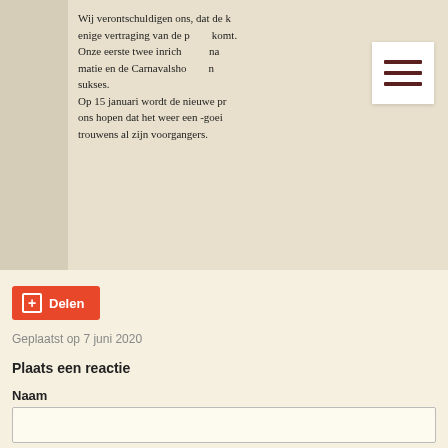[Figure (photo): Scanned book page showing Dutch text partially visible, with a hamburger menu icon overlay in the top right area. Text includes: 'Wij verontschuldigen ons, dat de k... enige vertraging van de p... komt. Onze eerste twee inrich... na... matie en de Carnavalsho... n... sukses. Op 15 januari wordt de nieuwe pr... ons hopen dat het weer een -goei... trouwens al zijn voorgangers.']
Delen
Geplaatst op 7 juni 2020
Plaats een reactie
Naam
E-mail